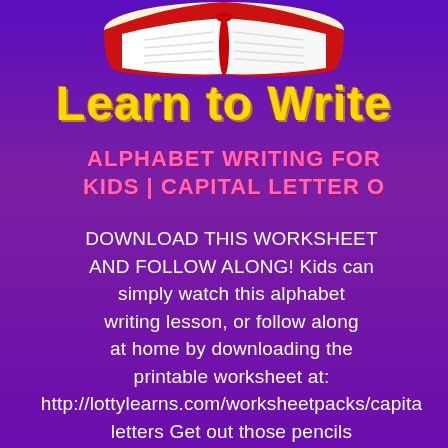[Figure (illustration): Open book illustration with red cover and white pages, viewed from above]
Learn to Write
ALPHABET WRITING FOR KIDS | CAPITAL LETTER O
DOWNLOAD THIS WORKSHEET AND FOLLOW ALONG! Kids can simply watch this alphabet writing lesson, or follow along at home by downloading the printable worksheet at: http://lottylearns.com/worksheetpacks/capital letters Get out those pencils and get ready to learn how to write the ABCs! This fun ALPHABET WRITING lesson for